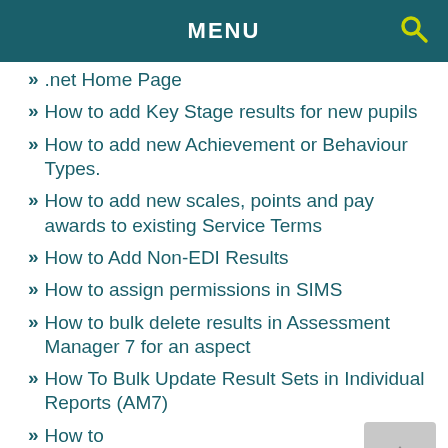MENU
.net Home Page
How to add Key Stage results for new pupils
How to add new Achievement or Behaviour Types.
How to add new scales, points and pay awards to existing Service Terms
How to Add Non-EDI Results
How to assign permissions in SIMS
How to bulk delete results in Assessment Manager 7 for an aspect
How To Bulk Update Result Sets in Individual Reports (AM7)
How to change a room name within Examinations Organiser
How to change student enrolment status to Guest without losing the attendance data